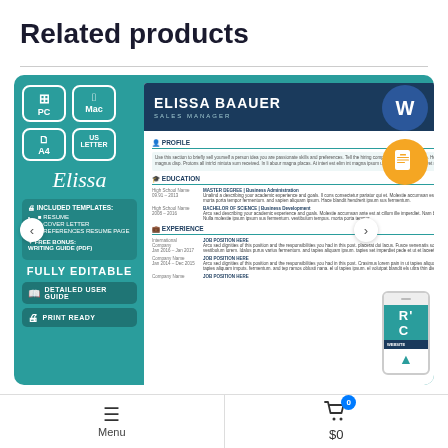Related products
[Figure (screenshot): Product listing card showing a resume template for 'Elissa Baauer - Sales Manager'. Features teal background with PC/Mac/A4/US Letter icons, compatibility badges (Word, Pages), navigation arrows, and a phone mockup. The resume preview shows profile, education, and experience sections.]
Menu   0   $0